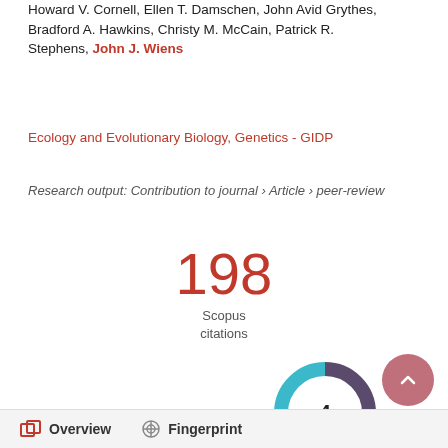Howard V. Cornell, Ellen T. Damschen, John Avid Grythes, Bradford A. Hawkins, Christy M. McCain, Patrick R. Stephens, John J. Wiens
Ecology and Evolutionary Biology, Genetics - GIDP
Research output: Contribution to journal › Article › peer-review
[Figure (other): Scopus citations count: 198]
[Figure (donut-chart): Donut chart with value 4 in center, blue and purple segments]
[Figure (other): Back to top button (pink circle with up arrow)]
Overview   Fingerprint